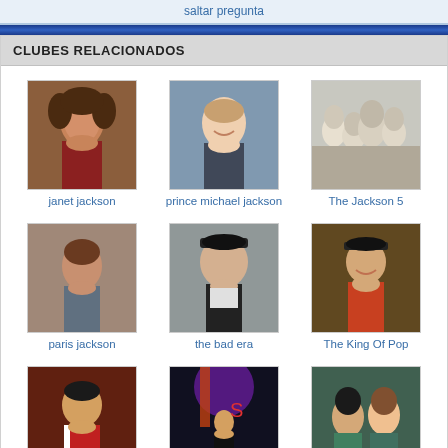saltar pregunta
CLUBES RELACIONADOS
[Figure (photo): Photo of Janet Jackson]
janet jackson
[Figure (photo): Photo of Prince Michael Jackson]
prince michael jackson
[Figure (photo): Black and white photo of The Jackson 5]
The Jackson 5
[Figure (photo): Photo of Paris Jackson]
paris jackson
[Figure (photo): Photo from the bad era - Michael Jackson in hat]
the bad era
[Figure (photo): Photo of The King Of Pop - Michael Jackson]
The King Of Pop
[Figure (photo): Photo from The Thriller Era - Michael Jackson in red jacket]
The Thriller Era
[Figure (photo): Photo from MJ's This is it concert]
MJ's This is it
[Figure (photo): Photo of the jackson 3 - two people]
the jackson 3
más clubes >>
[Figure (illustration): Michael Jackson script signature logo on dark blue background]